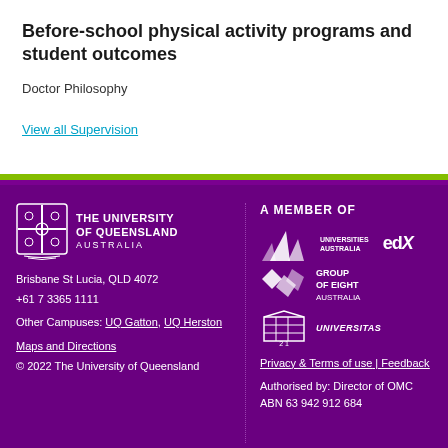Before-school physical activity programs and student outcomes
Doctor Philosophy
View all Supervision
The University of Queensland Australia
Brisbane St Lucia, QLD 4072
+61 7 3365 1111
Other Campuses: UQ Gatton, UQ Herston
Maps and Directions
© 2022 The University of Queensland
A MEMBER OF
Privacy & Terms of use | Feedback
Authorised by: Director of OMC
ABN 63 942 912 684